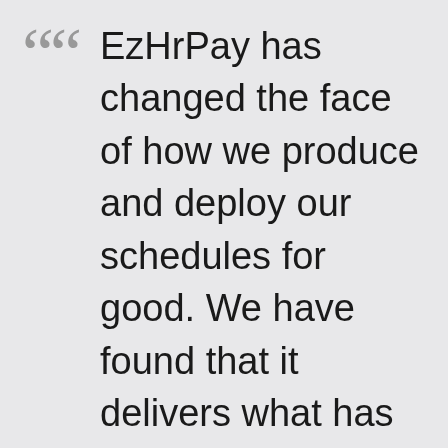EzHrPay has changed the face of how we produce and deploy our schedules for good. We have found that it delivers what has promised and so much more. The staff at MizziSoft are friendly, helpful and will often go the extra mile.